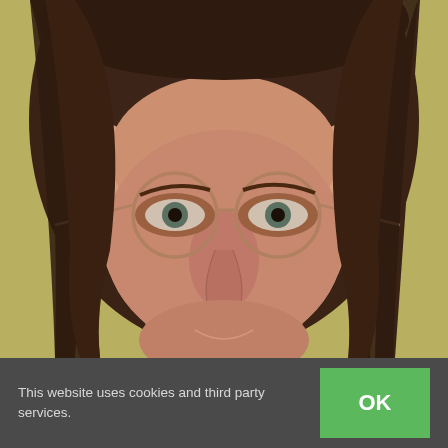[Figure (photo): Close-up portrait photo of a woman with long dark brown hair, wearing round gold-rimmed glasses, against a yellowish-green background. She appears to be smiling slightly.]
This website uses cookies and third party services.
OK